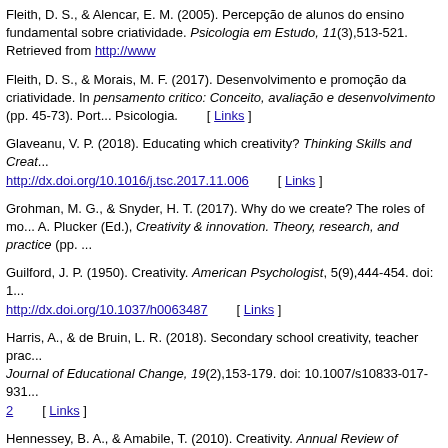Fleith, D. S., & Alencar, E. M. (2005). Percepção de alunos do ensino fundamental sobre criatividade. Psicologia em Estudo, 11(3),513-521. Retrieved from http://www...
Fleith, D. S., & Morais, M. F. (2017). Desenvolvimento e promoção da criatividade. In pensamento critico: Conceito, avaliação e desenvolvimento (pp. 45-73). Port... Psicologia. [ Links ]
Glaveanu, V. P. (2018). Educating which creativity? Thinking Skills and Creat... http://dx.doi.org/10.1016/j.tsc.2017.11.006 [ Links ]
Grohman, M. G., & Snyder, H. T. (2017). Why do we create? The roles of mo... A. Plucker (Ed.), Creativity & innovation. Theory, research, and practice (pp. ...
Guilford, J. P. (1950). Creativity. American Psychologist, 5(9),444-454. doi: 1... http://dx.doi.org/10.1037/h0063487 [ Links ]
Harris, A., & de Bruin, L. R. (2018). Secondary school creativity, teacher prac... Journal of Educational Change, 19(2),153-179. doi: 10.1007/s10833-017-931...2 [ Links ]
Hennessey, B. A., & Amabile, T. (2010). Creativity. Annual Review of Psycho... 10.1146/annurev.psych.093008.100416. http://dx.doi.org/10.1146/annurev.ps...
He, W., & Wong, W. (2015). Creativity slump and school transition stress: A s... relational theory of stress. Learning and Individual Differences, 43(1),185-19... http://dx.doi.org/10.1016/j.lindif.2015.08.034 [ Links ]
Hong, H. Y., Chang, Y. H., & Chai, C. S. (2014). Fostering a collaborative ano... centered knowledge building. Instructional Science, 42(3),389-407. doi: 10.1... http://dx.doi.org/10.1007/s11251-013-9289-y [ Links ]